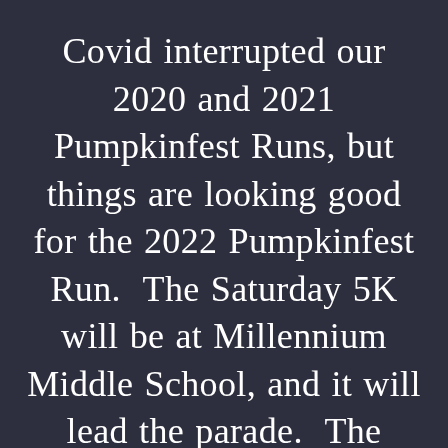Covid interrupted our 2020 and 2021 Pumpkinfest Runs, but things are looking good for the 2022 Pumpkinfest Run. The Saturday 5K will be at Millennium Middle School, and it will lead the parade. The Sunday Half Marathon will again use Island Lake Park and Kensington Park. Meet at the